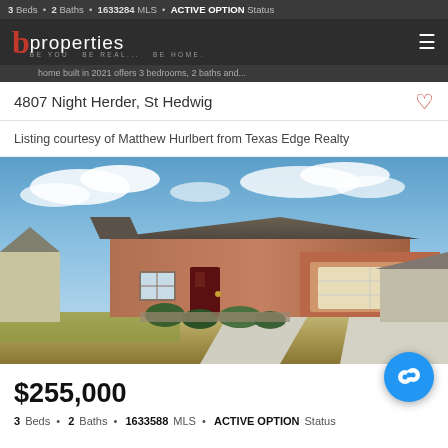3 Beds · 2 Baths · 1633284 MLS · ACTIVE OPTION Status
[Figure (logo): b properties logo with tagline BE YOU. BE REAL... BE HOME.]
home built in 2021 offers 3 bedrooms, 2 baths and...
4807 Night Herder, St Hedwig
Listing courtesy of Matthew Hurlbert from Texas Edge Realty
[Figure (photo): Exterior photo of a single-story brick ranch-style home with two-car garage, concrete driveway, landscaping, and blue sky with clouds]
$255,000
3 Beds · 2 Baths · 1633588 MLS · ACTIVE OPTION Status